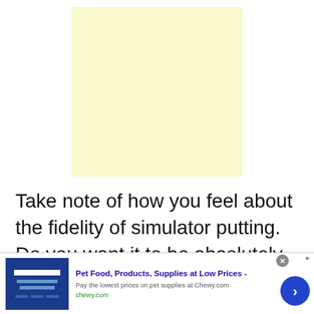[Figure (other): A plain light yellow rectangle, used as an advertisement placeholder or image area.]
Take note of how you feel about the fidelity of simulator putting. Do you want it to be absolutely as realistic as possible? Do you want
[Figure (other): Advertisement bar for Chewy.com: 'Pet Food, Products, Supplies at Low Prices - Pay the lowest prices on pet supplies at Chewy.com chewy.com' with a close button, arrow button, and small product image.]